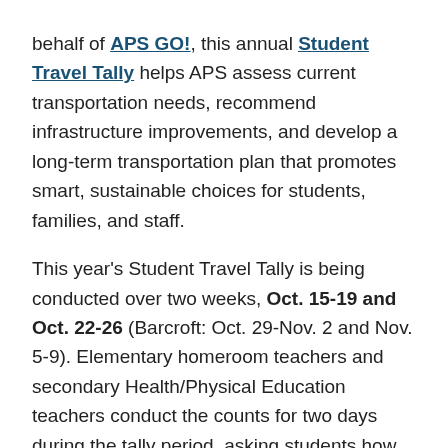behalf of APS GO!, this annual Student Travel Tally helps APS assess current transportation needs, recommend infrastructure improvements, and develop a long-term transportation plan that promotes smart, sustainable choices for students, families, and staff.

This year's Student Travel Tally is being conducted over two weeks, Oct. 15-19 and Oct. 22-26 (Barcroft: Oct. 29-Nov. 2 and Nov. 5-9). Elementary homeroom teachers and secondary Health/Physical Education teachers conduct the counts for two days during the tally period, asking students how they traveled to school that morning and how they will travel home that afternoon. Choices include walk, bike, school bus, family vehicle, carpool, public transit, and other